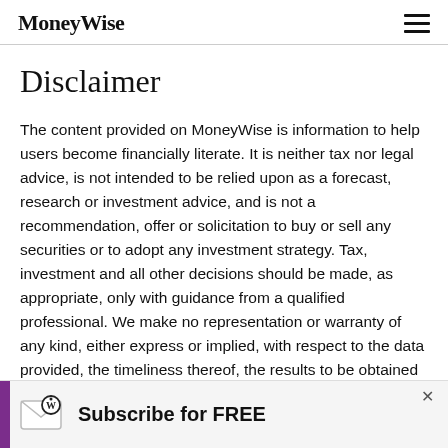MoneyWise
Disclaimer
The content provided on MoneyWise is information to help users become financially literate. It is neither tax nor legal advice, is not intended to be relied upon as a forecast, research or investment advice, and is not a recommendation, offer or solicitation to buy or sell any securities or to adopt any investment strategy. Tax, investment and all other decisions should be made, as appropriate, only with guidance from a qualified professional. We make no representation or warranty of any kind, either express or implied, with respect to the data provided, the timeliness thereof, the results to be obtained by the use thereof, or any other matter.
[Figure (infographic): Advertisement banner: purple vertical bar on left, MoneyWise envelope/letter icon, bold text 'Subscribe for FREE', close button X in top right]